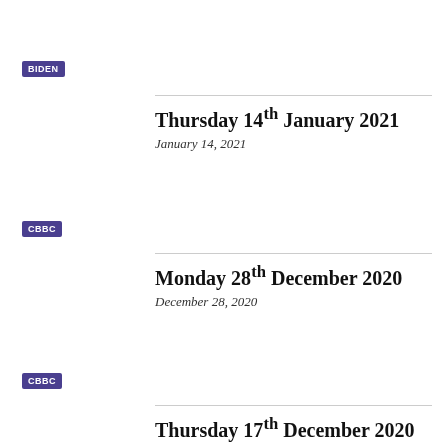BIDEN
Thursday 14th January 2021
January 14, 2021
CBBC
Monday 28th December 2020
December 28, 2020
CBBC
Thursday 17th December 2020